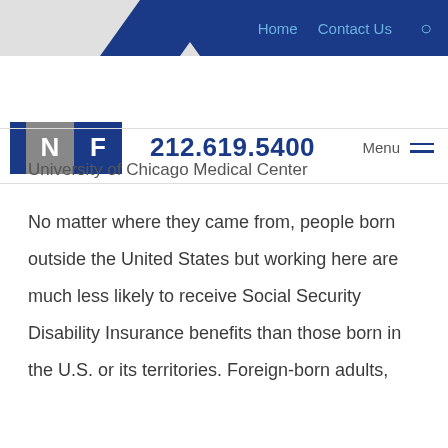Home  Contact Us  🔍
N F  212.619.5400  Menu
University of Chicago Medical Center
No matter where they came from, people born outside the United States but working here are much less likely to receive Social Security Disability Insurance benefits than those born in the U.S. or its territories. Foreign-born adults,